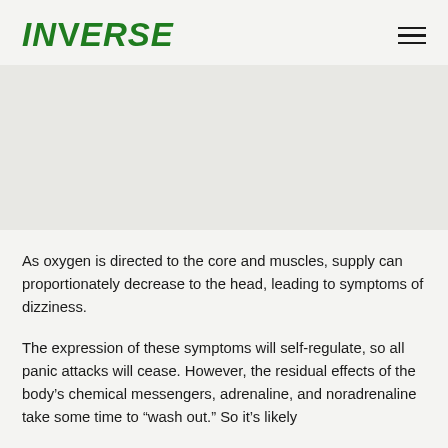INVERSE
[Figure (photo): Image placeholder area (photo not visible)]
As oxygen is directed to the core and muscles, supply can proportionately decrease to the head, leading to symptoms of dizziness.
The expression of these symptoms will self-regulate, so all panic attacks will cease. However, the residual effects of the body's chemical messengers, adrenaline, and noradrenaline take some time to “wash out.” So it’s likely